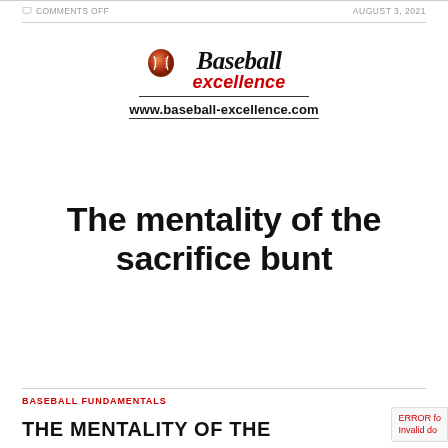COMMENTS OFF   AUGUST 3, 2021
[Figure (logo): Baseball Excellence logo with baseball graphic, italic serif 'Baseball' text, red italic 'excellence' text, horizontal rule, and bold URL www.baseball-excellence.com]
The mentality of the sacrifice bunt
BASEBALL FUNDAMENTALS
THE MENTALITY OF THE